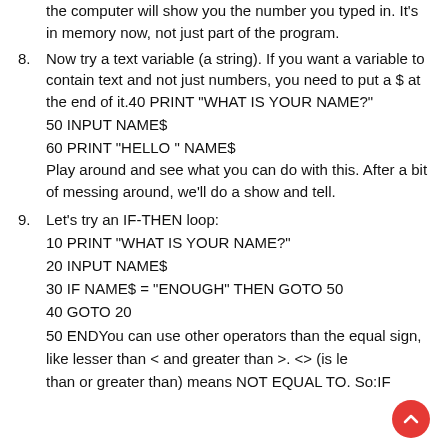the computer will show you the number you typed in. It's in memory now, not just part of the program.
8. Now try a text variable (a string). If you want a variable to contain text and not just numbers, you need to put a $ at the end of it.40 PRINT "WHAT IS YOUR NAME?"
50 INPUT NAME$
60 PRINT "HELLO " NAME$
Play around and see what you can do with this. After a bit of messing around, we'll do a show and tell.
9. Let's try an IF-THEN loop:
10 PRINT "WHAT IS YOUR NAME?"
20 INPUT NAME$
30 IF NAME$ = "ENOUGH" THEN GOTO 50
40 GOTO 20
50 ENDYou can use other operators than the equal sign, like lesser than < and greater than >. <> (is less than or greater than) means NOT EQUAL TO. So:IF